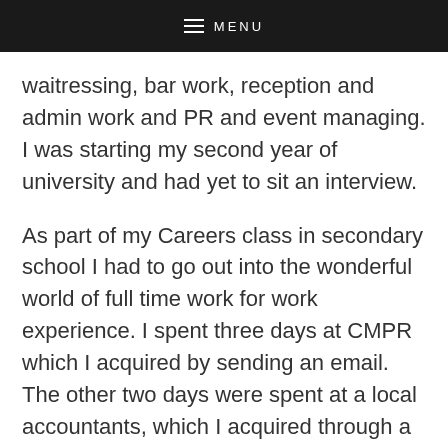MENU
waitressing, bar work, reception and admin work and PR and event managing. I was starting my second year of university and had yet to sit an interview.
As part of my Careers class in secondary school I had to go out into the wonderful world of full time work for work experience. I spent three days at CMPR which I acquired by sending an email. The other two days were spent at a local accountants, which I acquired through a family friend.
Starting my second year of university I